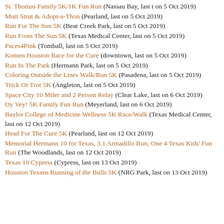St. Thomas Family 5K/1K Fun Run (Nassau Bay, last t on 5 Oct 2019)
Mutt Strut & Adopt-a-Thon (Pearland, last on 5 Oct 2019)
Run For The Sun 5K (Bear Creek Park, last on 5 Oct 2019)
Run From The Sun 5K (Texas Medical Center, last on 5 Oct 2019)
Paces4Pink (Tomball, last on 5 Oct 2019)
Komen Houston Race for the Cure (downtown, last on 5 Oct 2019)
Run In The Park (Hermann Park, last on 5 Oct 2019)
Coloring Outside the Lines Walk/Run 5K (Pasadena, last on 5 Oct 2019)
Trick Or Trot 5K (Angleton, last on 5 Oct 2019)
Space City 10 Miler and 2 Person Relay (Clear Lake, last on 6 Oct 2019)
Oy Vey! 5K Family Fun Run (Meyerland, last on 6 Oct 2019)
Baylor College of Medicine Wellness 5K Race/Walk (Texas Medical Center, last on 12 Oct 2019)
Head For The Cure 5K (Pearland, last on 12 Oct 2019)
Memorial Hermann 10 for Texas, 3.1 Armadillo Run, One 4 Texas Kids' Fun Run (The Woodlands, last on 12 Oct 2019)
Texas 10 Cypress (Cypress, last on 13 Oct 2019)
Houston Texans Running of the Bulls 5K (NRG Park, last on 13 Oct 2019)